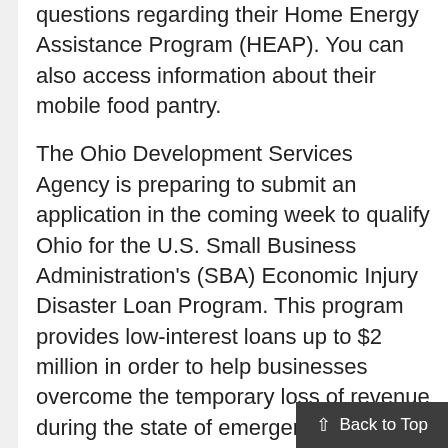questions regarding their Home Energy Assistance Program (HEAP). You can also access information about their mobile food pantry.
The Ohio Development Services Agency is preparing to submit an application in the coming week to qualify Ohio for the U.S. Small Business Administration's (SBA) Economic Injury Disaster Loan Program. This program provides low-interest loans up to $2 million in order to help businesses overcome the temporary loss of revenue during the state of emergency.
Update: Phase 3 of the government's COVID-19 related stimulus package, is a record-breaking new program being offered by SBA-approved banks, the Paycheck Protection Program (PPP).